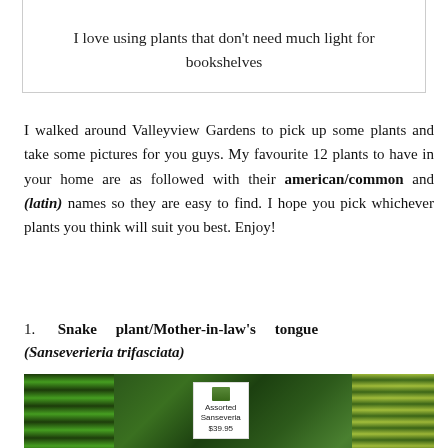[Figure (photo): Top strip of a photo showing bookshelves or plants in a bright indoor setting]
I love using plants that don't need much light for bookshelves
I walked around Valleyview Gardens to pick up some plants and take some pictures for you guys. My favourite 12 plants to have in your home are as followed with their american/common and (latin) names so they are easy to find. I hope you pick whichever plants you think will suit you best. Enjoy!
1. Snake plant/Mother-in-law's tongue (Sanseverieria trifasciata)
[Figure (photo): Photo of assorted Sanseveria snake plants at a garden center with a price tag reading Assorted Sanseveria $39.95]